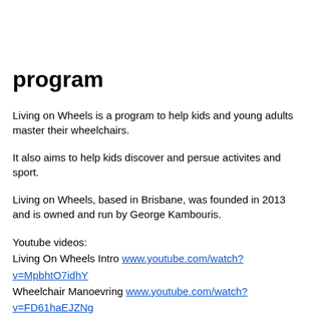program
Living on Wheels is a program to help kids and young adults master their wheelchairs.
It also aims to help kids discover and persue activites and sport.
Living on Wheels, based in Brisbane, was founded in 2013 and is owned and run by George Kambouris.
Youtube videos:
Living On Wheels Intro www.youtube.com/watch?v=MpbhtO7idhY
Wheelchair Manoevring www.youtube.com/watch?v=FD61haEJZNg
Hand Eye Coordination www.youtube.com/watch?v=18ziMsTqods